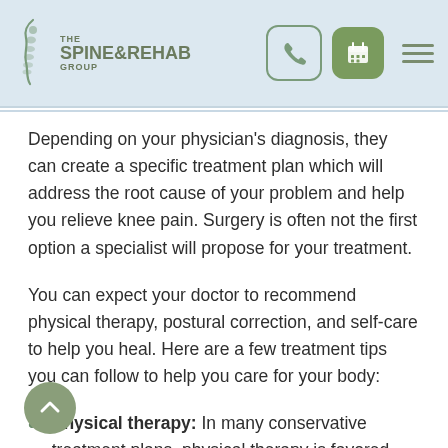[Figure (logo): The Spine & Rehab Group logo with spine illustration and navigation icons (phone, calendar, hamburger menu)]
Depending on your physician's diagnosis, they can create a specific treatment plan which will address the root cause of your problem and help you relieve knee pain. Surgery is often not the first option a specialist will propose for your treatment.
You can expect your doctor to recommend physical therapy, postural correction, and self-care to help you heal. Here are a few treatment tips you can follow to help you care for your body:
Physical therapy: In many conservative treatment plans, physical therapy is favored especially if the pain is severe and requires long-term treatment